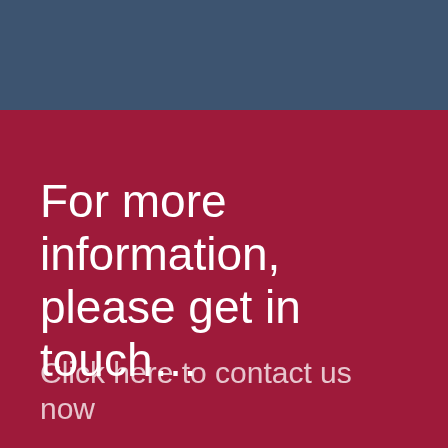For more information, please get in touch…
Click here to contact us now